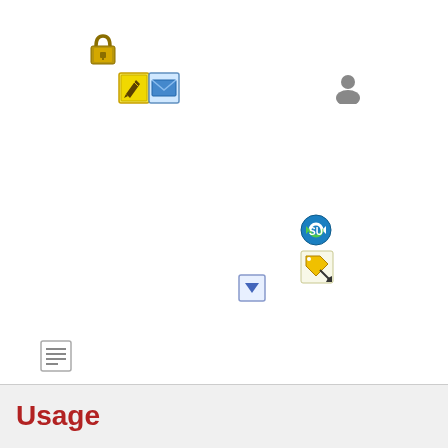[Figure (illustration): Gold padlock icon]
[Figure (illustration): Yellow pencil/edit icon with border]
[Figure (illustration): Blue envelope/email icon with border]
[Figure (illustration): Gray user/person silhouette icon]
[Figure (illustration): Green circular arrow/refresh icon (StumbleUpon style)]
[Figure (illustration): Yellow price tag icon with cursor]
[Figure (illustration): Small blue downward triangle/filter icon]
[Figure (illustration): Document/list icon with lines]
Usage